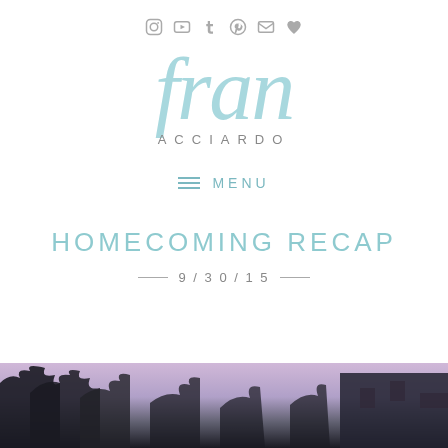Social icons: Instagram, YouTube, Tumblr, Pinterest, Mail, Heart
[Figure (logo): Fran Acciardo blog logo — cursive 'fran' in light teal script with 'ACCIARDO' in spaced gray uppercase below]
≡ MENU
HOMECOMING RECAP
9/30/15
[Figure (photo): Partial photo of trees silhouetted against a purple/lavender sky with a building visible on the right]